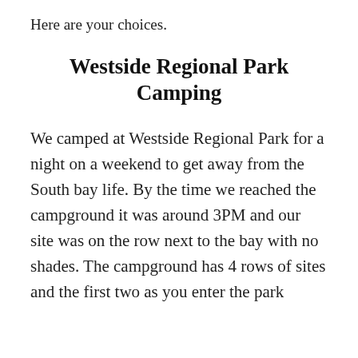Here are your choices.
Westside Regional Park Camping
We camped at Westside Regional Park for a night on a weekend to get away from the South bay life. By the time we reached the campground it was around 3PM and our site was on the row next to the bay with no shades. The campground has 4 rows of sites and the first two as you enter the park